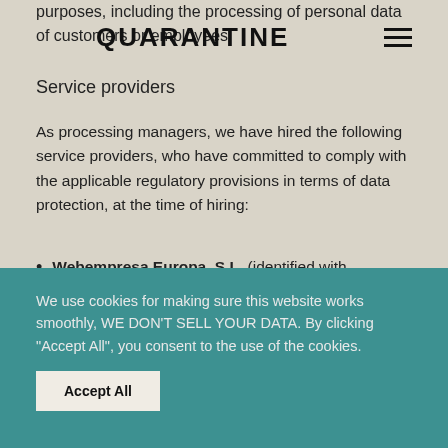purposes, including the processing of personal data of customers or employees.
QUARANTINE
Service providers
As processing managers, we have hired the following service providers, who have committed to comply with the applicable regulatory provisions in terms of data protection, at the time of hiring:
Webempresa Europa, S.L. (identified with
We use cookies for making sure this website works smoothly, WE DON'T SELL YOUR DATA. By clicking "Accept All", you consent to the use of the cookies.
Accept All